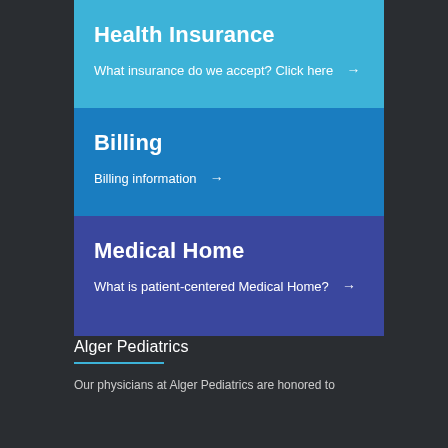Health Insurance
What insurance do we accept? Click here →
Billing
Billing information →
Medical Home
What is patient-centered Medical Home? →
Alger Pediatrics
Our physicians at Alger Pediatrics are honored to